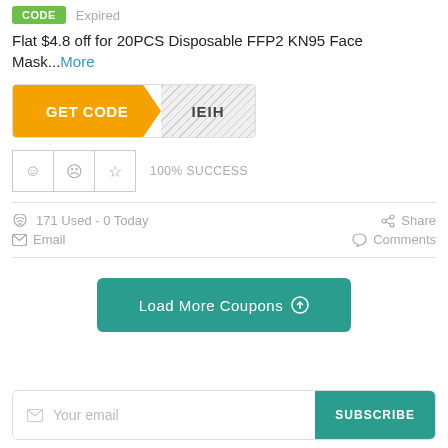CODE  Expired
Flat $4.8 off for 20PCS Disposable FFP2 KN95 Face Mask...More
[Figure (infographic): Orange GET CODE button with striped code reveal area showing IEIH]
100% SUCCESS
171 Used - 0 Today
Share
Email
Comments
Load More Coupons
Your email  SUBSCRIBE